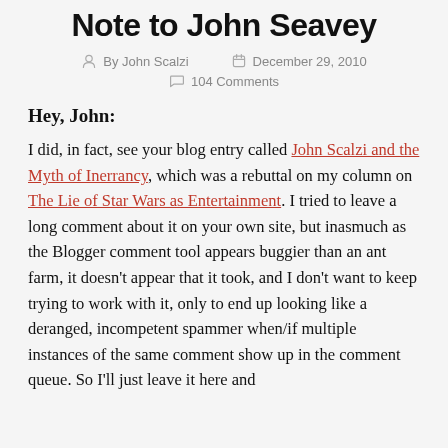Note to John Seavey
By John Scalzi   December 29, 2010   104 Comments
Hey, John:
I did, in fact, see your blog entry called John Scalzi and the Myth of Inerrancy, which was a rebuttal on my column on The Lie of Star Wars as Entertainment. I tried to leave a long comment about it on your own site, but inasmuch as the Blogger comment tool appears buggier than an ant farm, it doesn't appear that it took, and I don't want to keep trying to work with it, only to end up looking like a deranged, incompetent spammer when/if multiple instances of the same comment show up in the comment queue. So I'll just leave it here and